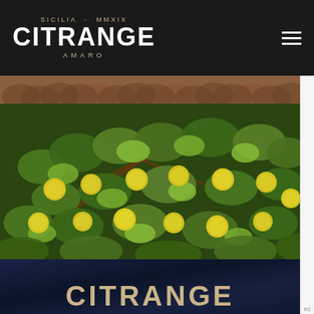SICILIA - MMXIX CITRANGE AMARO
[Figure (photo): Close-up photograph of a citrus tree (citrange) with yellow-green fruits hanging from branches with green leaves, with terracotta roof tiles visible in the background]
[Figure (photo): Close-up of a dark navy bottle label showing the word CITRANGE in gold/cream letters]